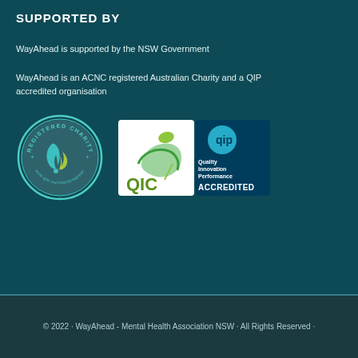SUPPORTED BY
WayAhead is supported by the NSW Government
WayAhead is an ACNC registered Australian Charity and a QIP accredited organisation
[Figure (logo): ACNC Registered Charity circular logo with text acnc.gov.au/charityregister]
[Figure (logo): QIC and QIP Quality Innovation Performance Accredited logo]
© 2022 · WayAhead - Mental Health Association NSW · All Rights Reserved ·